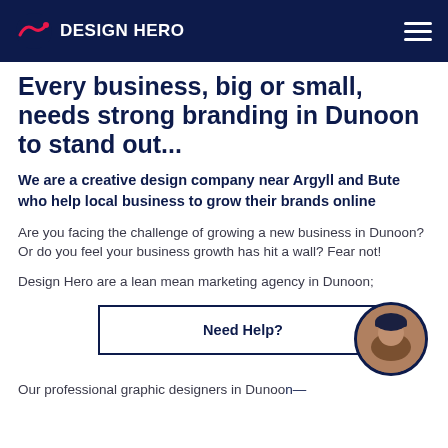DESIGN HERO
Every business, big or small, needs strong branding in Dunoon to stand out...
We are a creative design company near Argyll and Bute who help local business to grow their brands online
Are you facing the challenge of growing a new business in Dunoon? Or do you feel your business growth has hit a wall? Fear not!
Design Hero are a lean mean marketing agency in Dunoon;
[Figure (photo): Need Help? CTA button with circular avatar photo of a man wearing a cap]
Our professional graphic designers in Dunoon—